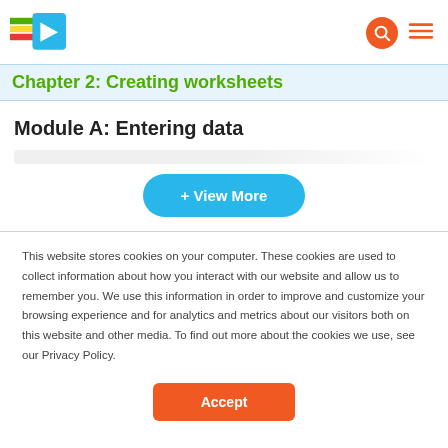Chapter 2: Creating worksheets
Module A: Entering data
+ View More
This website stores cookies on your computer. These cookies are used to collect information about how you interact with our website and allow us to remember you. We use this information in order to improve and customize your browsing experience and for analytics and metrics about our visitors both on this website and other media. To find out more about the cookies we use, see our Privacy Policy.
Accept